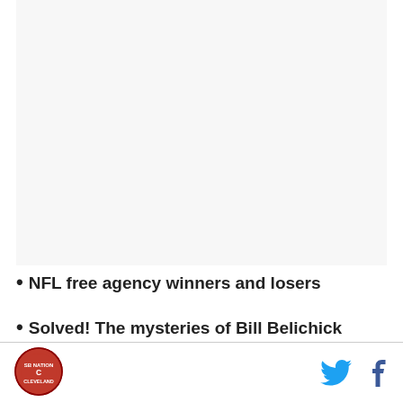[Figure (other): Large blank/light gray image placeholder area]
NFL free agency winners and losers
Solved! The mysteries of Bill Belichick
SB Nation Cleveland logo | Twitter icon | Facebook icon